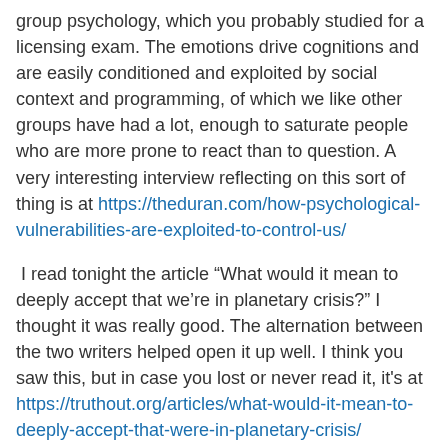group psychology, which you probably studied for a licensing exam. The emotions drive cognitions and are easily conditioned and exploited by social context and programming, of which we like other groups have had a lot, enough to saturate people who are more prone to react than to question. A very interesting interview reflecting on this sort of thing is at https://theduran.com/how-psychological-vulnerabilities-are-exploited-to-control-us/
I read tonight the article “What would it mean to deeply accept that we’re in planetary crisis?” I thought it was really good. The alternation between the two writers helped open it up well. I think you saw this, but in case you lost or never read it, it's at https://truthout.org/articles/what-would-it-mean-to-deeply-accept-that-were-in-planetary-crisis/
If time permits among so many other things, I may read more by these people.